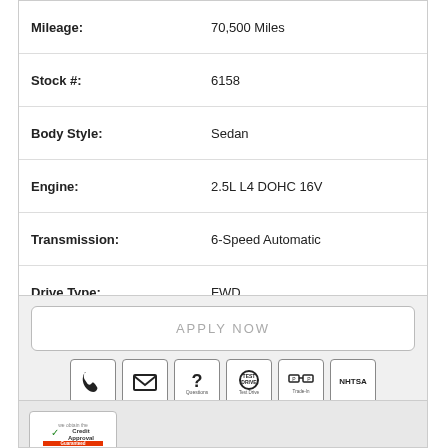| Field | Value |
| --- | --- |
| Mileage: | 70,500 Miles |
| Stock #: | 6158 |
| Body Style: | Sedan |
| Engine: | 2.5L L4 DOHC 16V |
| Transmission: | 6-Speed Automatic |
| Drive Type: | FWD |
[Figure (logo): DETAILS >> button, Rick Curren Auto Sales logo, AutoCheck logo]
[Figure (infographic): APPLY NOW button and row of action icons: phone, email, questions, test drive, trade-in, NHTSA]
[Figure (logo): Credit Approval Guaranteed badge at bottom]